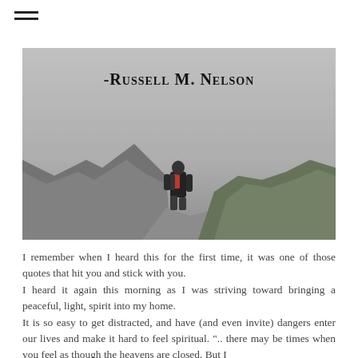[Figure (photo): Misty mountain scene with a person wearing a backpack standing on rocky terrain looking into fog, with text overlay '-Russell M. Nelson' at the top]
I remember when I heard this for the first time, it was one of those quotes that hit you and stick with you. I heard it again this morning as I was striving toward bringing a peaceful, light, spirit into my home. It is so easy to get distracted, and have (and even invite) dangers enter our lives and make it hard to feel spiritual. ".. there may be times when you feel as though the heavens are closed. But I